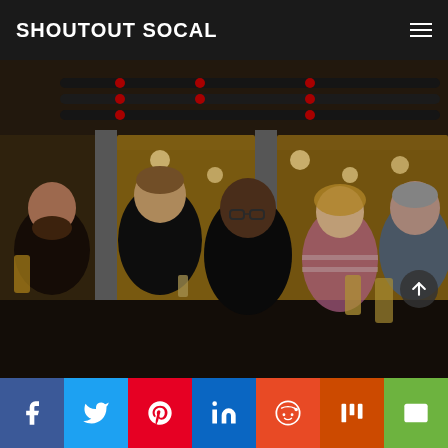SHOUTOUT SOCAL
[Figure (photo): Five people posing together in a brewery or industrial venue, smiling and holding glasses of beer. They are standing in front of large windows with industrial piping visible above. The group includes four men and one woman.]
[Figure (other): Social media sharing bar with icons: Facebook, Twitter, Pinterest, LinkedIn, Reddit, Mix, and Email]